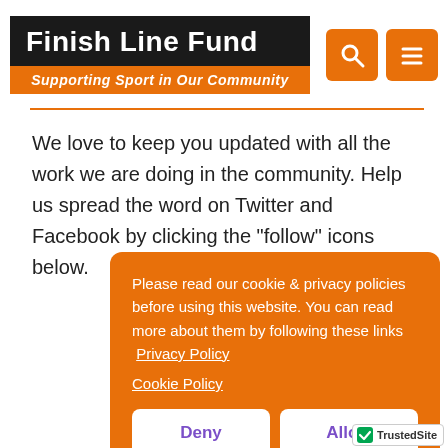Finish Line Fund — Supporting Sport in Our Community
We love to keep you updated with all the work we are doing in the community. Help us spread the word on Twitter and Facebook by clicking the "follow" icons below.
Please read our cookie & privacy policies before using this website. You can read more about them by following these links  Privacy Policy  Cookie Policy
Deny  Allow